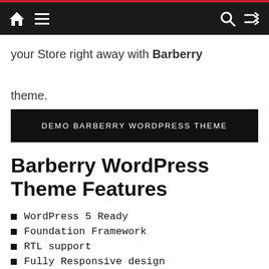[Navigation bar with home, menu, search, and shuffle icons]
your Store right away with Barberry
theme.
DEMO BARBERRY WORDPRESS THEME
Barberry WordPress Theme Features
WordPress 5 Ready
Foundation Framework
RTL support
Fully Responsive design
100% Retina Ready
WooCommerce 3.8 ready
Visual Composer: Page Builder